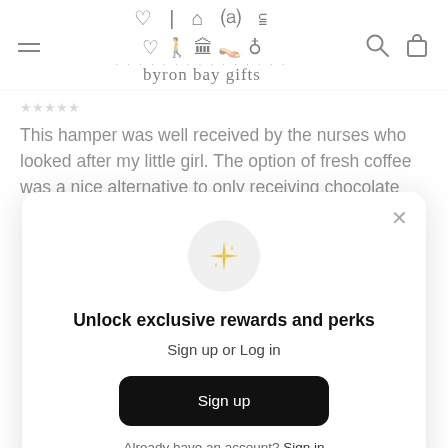[Figure (logo): Byron Bay Gifts logo with icons (heart, surfboard, lighthouse, flip flops, mortar) and dotted line above site name 'byron bay gifts']
This hamper was well received by the nurses who looked after my little girl. The option of fresh coffee was a nice alternative to only receiving chocolate
[Figure (other): Modal popup with sparkle emoji icon, title 'Unlock exclusive rewards and perks', subtitle 'Sign up or Log in', a Sign up button, and 'Already have an account? Sign in' link]
Unlock exclusive rewards and perks
Sign up or Log in
Sign up
Already have an account? Sign in